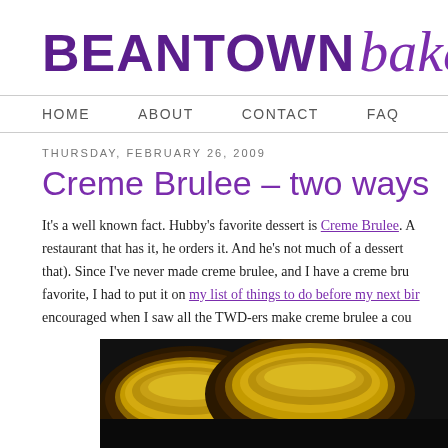BEANTOWN baker
HOME   ABOUT   CONTACT   FAQ   RECIPES
THURSDAY, FEBRUARY 26, 2009
Creme Brulee – two ways
It's a well known fact. Hubby's favorite dessert is Creme Brulee. A restaurant that has it, he orders it. And he's not much of a dessert that). Since I've never made creme brulee, and I have a creme bru favorite, I had to put it on my list of things to do before my next bir encouraged when I saw all the TWD-ers make creme brulee a cou
[Figure (photo): Close-up photo of creme brulee desserts in ramekins, showing golden caramelized sugar tops, dark background]